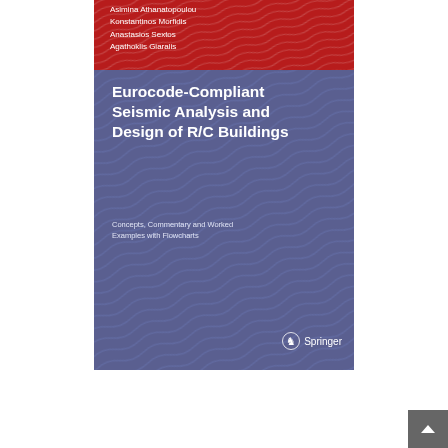[Figure (illustration): Book cover of 'Eurocode-Compliant Seismic Analysis and Design of R/C Buildings: Concepts, Commentary and Worked Examples with Flowcharts' by Asimina Athanatopoulou, Konstantinos Morfidis, Anastasios Sextos, Agathoklis Giaralis. Published by Springer. Red top band with wave pattern showing authors, blue/purple main body with large white title, subtitle text, and Springer logo at bottom.]